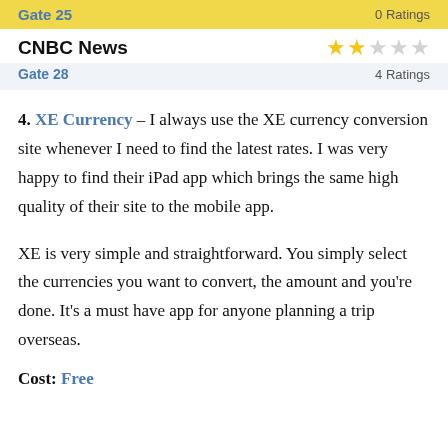| Gate 25 | 0 Ratings |
| CNBC News | ★★☆☆☆ / 4 Ratings |
| Gate 28 | 4 Ratings |
4. XE Currency – I always use the XE currency conversion site whenever I need to find the latest rates. I was very happy to find their iPad app which brings the same high quality of their site to the mobile app.
XE is very simple and straightforward. You simply select the currencies you want to convert, the amount and you're done. It's a must have app for anyone planning a trip overseas.
Cost: Free